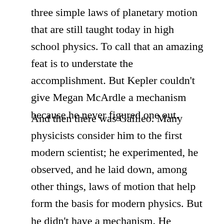three simple laws of planetary motion that are still taught today in high school physics. To call that an amazing feat is to understate the accomplishment. But Kepler couldn't give Megan McArdle a mechanism because he never figured one out.
And then there was Galileo. Many physicists consider him to the first modern scientist; he experimented, he observed, and he laid down, among other things, laws of motion that help form the basis for modern physics. But he didn't have a mechanism. He understood how bodies moved, but not exactly why they moved the way they do. And while he didn't have a mechanism, the prevailing, er, theory at the time had one. And proponents of